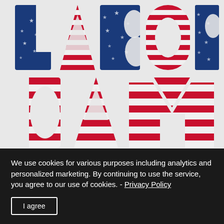[Figure (illustration): Large decorative text reading 'LABOR DAY' styled with American flag pattern — red and white stripes with blue star field area on the letters, giving a patriotic holiday look against a light gray/white background.]
TIPS,  VACATION IDEAS
Labor Day Weekend Activities Around Anna Maria Island
We use cookies for various purposes including analytics and personalized marketing. By continuing to use the service, you agree to our use of cookies. - Privacy Policy
I agree